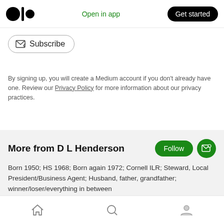Medium logo | Open in app | Get started
Subscribe
By signing up, you will create a Medium account if you don't already have one. Review our Privacy Policy for more information about our privacy practices.
More from D L Henderson
Born 1950; HS 1968; Born again 1972; Cornell ILR; Steward, Local President/Business Agent; Husband, father, grandfather; winner/loser/everything in between
Mar 10
Home | Search | Profile